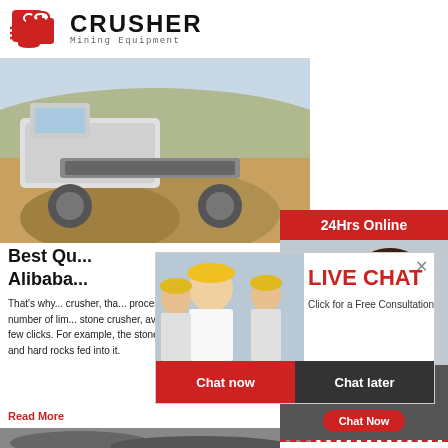[Figure (logo): Crusher Mining Equipment logo with red shopping bag / bolt icon and bold text]
[Figure (photo): Mining crusher machinery with rocks and excavator in background]
Best Qu...
Alibaba...
That's why... crusher, tha... processing of metals. There are a number of lim... stone crusher, available for purchase on Alibaba... few clicks. For example, the stone crushers are... crushing stones and hard rocks fed into it.
Read More
[Figure (photo): Rock quarry / crushed stone pile bottom image]
[Figure (infographic): Right sidebar: 24Hrs Online banner with customer service agent photo, Need questions & suggestion chat button, Enquiry section, limingjlmofen@sina.com email]
[Figure (screenshot): Live Chat popup overlay with construction workers photo, LIVE CHAT title, Click for a Free Consultation, Chat now and Chat later buttons]